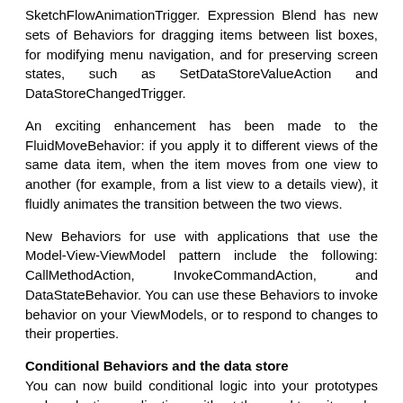SketchFlowAnimationTrigger. Expression Blend has new sets of Behaviors for dragging items between list boxes, for modifying menu navigation, and for preserving screen states, such as SetDataStoreValueAction and DataStoreChangedTrigger.
An exciting enhancement has been made to the FluidMoveBehavior: if you apply it to different views of the same data item, when the item moves from one view to another (for example, from a list view to a details view), it fluidly animates the transition between the two views.
New Behaviors for use with applications that use the Model-View-ViewModel pattern include the following: CallMethodAction, InvokeCommandAction, and DataStateBehavior. You can use these Behaviors to invoke behavior on your ViewModels, or to respond to changes to their properties.
Conditional Behaviors and the data store
You can now build conditional logic into your prototypes and production applications without the need to write code. In